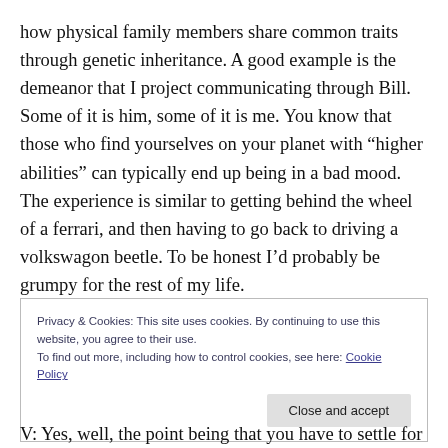how physical family members share common traits through genetic inheritance. A good example is the demeanor that I project communicating through Bill. Some of it is him, some of it is me. You know that those who find yourselves on your planet with “higher abilities” can typically end up being in a bad mood. The experience is similar to getting behind the wheel of a ferrari, and then having to go back to driving a volkswagon beetle. To be honest I’d probably be grumpy for the rest of my life.
Privacy & Cookies: This site uses cookies. By continuing to use this website, you agree to their use. To find out more, including how to control cookies, see here: Cookie Policy
V: Yes, well, the point being that you have to settle for